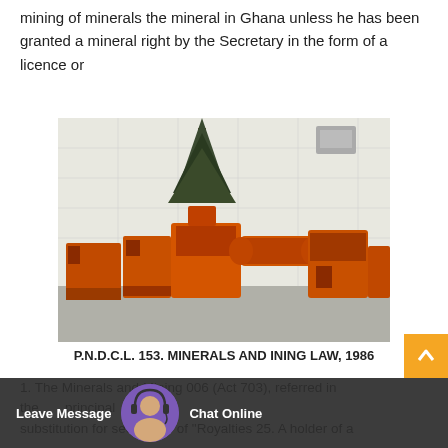mining of minerals the mineral in Ghana unless he has been granted a mineral right by the Secretary in the form of a licence or
[Figure (photo): Photograph of orange-colored heavy mining/crushing equipment arranged in a row outside a building with a tree visible in the background.]
P.N.D.C.L. 153. MINERALS AND INING LAW, 1986
1. The Minerals and Mining 006 (Act 703), referred in the principal ent. is a substitution for section 25 of "Royalties 25. A holder of a
Leave Message   Chat Online